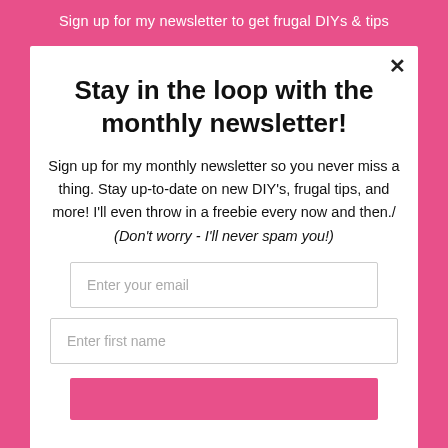Sign up for my newsletter to get frugal DIYs & tips
Stay in the loop with the monthly newsletter!
Sign up for my monthly newsletter so you never miss a thing. Stay up-to-date on new DIY's, frugal tips, and more! I'll even throw in a freebie every now and then./ (Don't worry - I'll never spam you!)